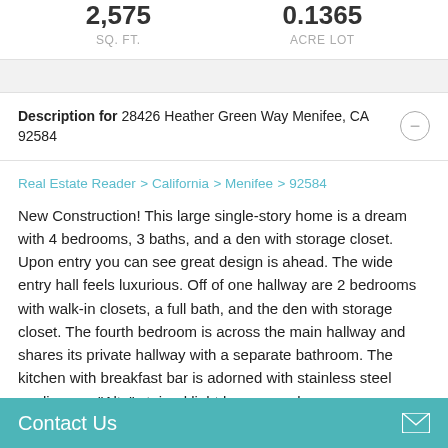2,575 SQ. FT.   0.1365 ACRE LOT
Description for 28426 Heather Green Way Menifee, CA 92584
Real Estate Reader > California > Menifee > 92584
New Construction! This large single-story home is a dream with 4 bedrooms, 3 baths, and a den with storage closet. Upon entry you can see great design is ahead. The wide entry hall feels luxurious. Off of one hallway are 2 bedrooms with walk-in closets, a full bath, and the den with storage closet. The fourth bedroom is across the main hallway and shares its private hallway with a separate bathroom. The kitchen with breakfast bar is adorned with stainless steel appliances, "Alto" stained light brown maple
Contact Us